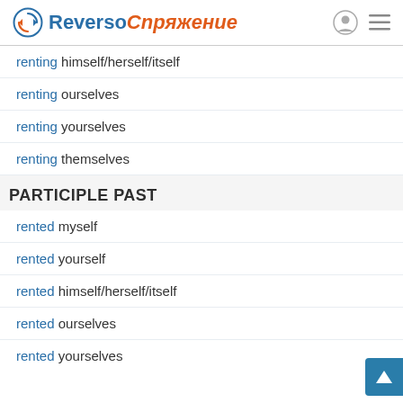Reverso Спряжение
renting himself/herself/itself
renting ourselves
renting yourselves
renting themselves
PARTICIPLE PAST
rented myself
rented yourself
rented himself/herself/itself
rented ourselves
rented yourselves